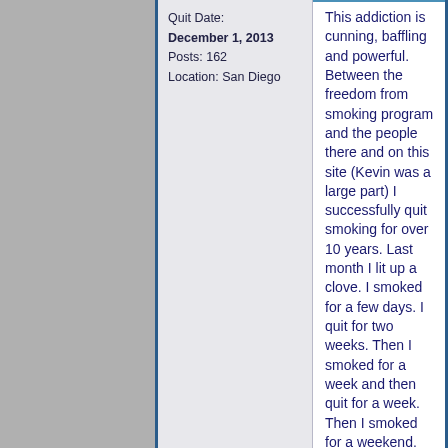Quit Date:
December 1, 2013

Posts: 162
Location: San Diego
This addiction is cunning, baffling and powerful. Between the freedom from smoking program and the people there and on this site (Kevin was a large part) I successfully quit smoking for over 10 years. Last month I lit up a clove. I smoked for a few days. I quit for two weeks. Then I smoked for a week and then quit for a week. Then I smoked for a weekend. And here I am, after resolving to quit again this morning, smoking a clove as I write. My silly little brain told me a clove wouldn't hook me. Well, I'm feeling pretty damn out of control already. I'm setting a quit date of April 17th and I am going to re-read everything I seem to have forgotten. Prayers and support are welcome. I love all you people and I know the struggle. I want to quit before I am back to my four pack a day Marlboro habit. I don't even care about the expense. My daughter is pregnant and I don't want to be a smoking grandma. I was diagnosed with COPD a few